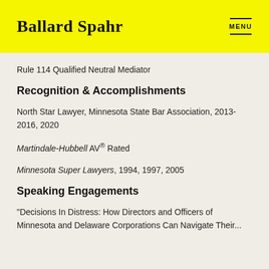Ballard Spahr
Rule 114 Qualified Neutral Mediator
Recognition & Accomplishments
North Star Lawyer, Minnesota State Bar Association, 2013-2016, 2020
Martindale-Hubbell AV® Rated
Minnesota Super Lawyers, 1994, 1997, 2005
Speaking Engagements
"Decisions In Distress: How Directors and Officers of Minnesota and Delaware Corporations Can Navigate Their...